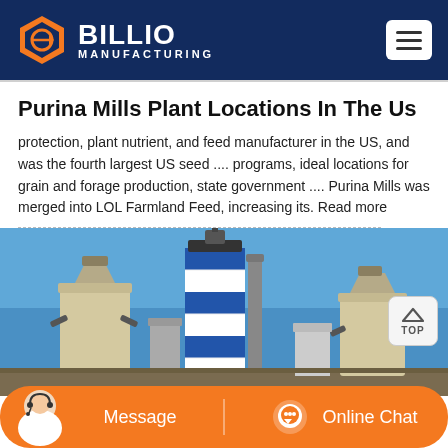BILLIO MANUFACTURING
Purina Mills Plant Locations In The Us
protection, plant nutrient, and feed manufacturer in the US, and was the fourth largest US seed .... programs, ideal locations for grain and forage production, state government .... Purina Mills was merged into LOL Farmland Feed, increasing its. Read more
[Figure (photo): Industrial plant with blue and white striped silo, various industrial structures and equipment against a blue sky]
[Figure (illustration): Bottom navigation bar with Message and Online Chat buttons in orange, with customer service representative photo on the left]